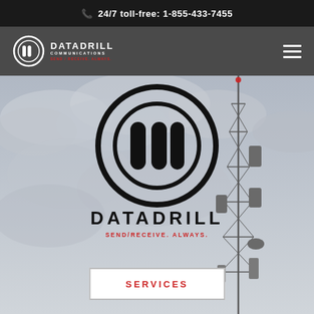📞 24/7 toll-free: 1-855-433-7455
[Figure (logo): DataDrill Communications logo in nav bar — circular DD icon with DATADRILL COMMUNICATIONS SEND/RECEIVE. ALWAYS. text]
[Figure (photo): Hero section with overcast sky and communications tower on the right side, DataDrill large logo centered with circular icon, DATADRILL text and SEND/RECEIVE. ALWAYS. tagline in red, and a SERVICES button below]
SERVICES